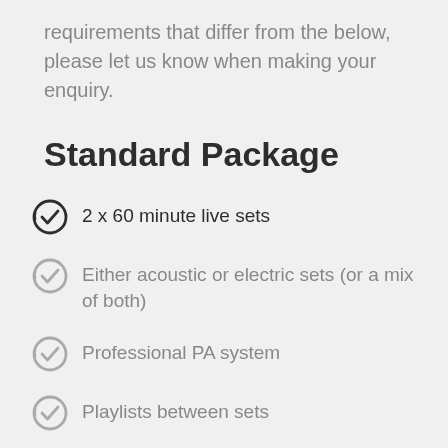requirements that differ from the below, please let us know when making your enquiry.
Standard Package
2 x 60 minute live sets
Either acoustic or electric sets (or a mix of both)
Professional PA system
Playlists between sets
Travel expense
Dedicated member of our team assigned to your event